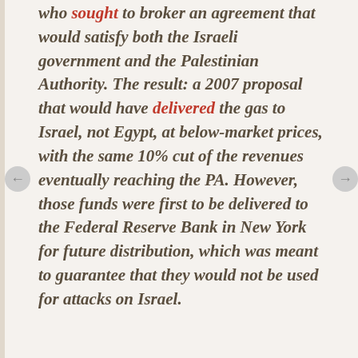who sought to broker an agreement that would satisfy both the Israeli government and the Palestinian Authority. The result: a 2007 proposal that would have delivered the gas to Israel, not Egypt, at below-market prices, with the same 10% cut of the revenues eventually reaching the PA. However, those funds were first to be delivered to the Federal Reserve Bank in New York for future distribution, which was meant to guarantee that they would not be used for attacks on Israel.